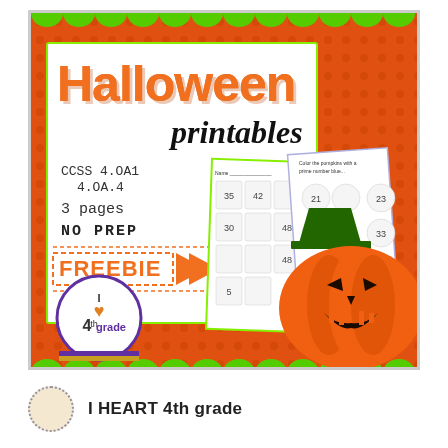[Figure (illustration): Halloween printables educational product cover image. Orange background with green scallop border. Large text reads 'Halloween printables'. Lists CCSS 4.OA1, 4.OA.4, 3 pages, NO PREP, FREEBIE. Shows worksheet papers with ghost grids, a jack-o-lantern pumpkin with witch hat, and 'I heart 4th grade' logo circle.]
I HEART 4th grade